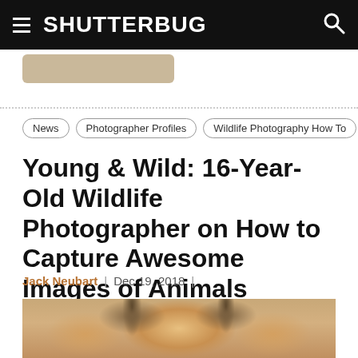SHUTTERBUG
News
Photographer Profiles
Wildlife Photography How To
Young & Wild: 16-Year-Old Wildlife Photographer on How to Capture Awesome Images of Animals
Jack Neubart | Dec 19, 2018 |
[Figure (photo): Close-up photo of an animal (fox or similar) fur/face viewed from above, showing orange-tan and cream colored fur with dark ear tips]